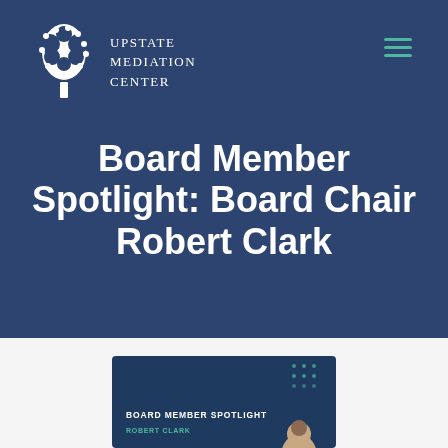[Figure (logo): Upstate Mediation Center logo with white tree illustration and organization name in uppercase serif font]
Board Member Spotlight: Board Chair Robert Clark
[Figure (screenshot): Board Member Spotlight card with dark blue background, teal dot pattern, text 'BOARD MEMBER SPOTLIGHT' and 'ROBERT CLARK' with partial circular avatar photo at bottom right]